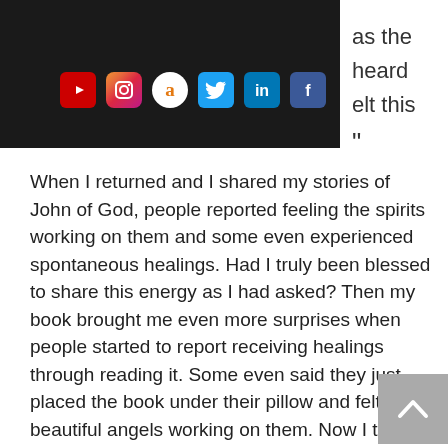Gal Thackray — Join my New Inner Circle (with social media icons: YouTube, Instagram, Amazon, Twitter, LinkedIn, Facebook)
When I returned and I shared my stories of John of God, people reported feeling the spirits working on them and some even experienced spontaneous healings. Had I truly been blessed to share this energy as I had asked? Then my book brought me even more surprises when people started to report receiving healings through reading it. Some even said they just placed the book under their pillow and felt beautiful angels working on them. Now I truly believe that when you are meant to be drawn to this beautiful energy, the